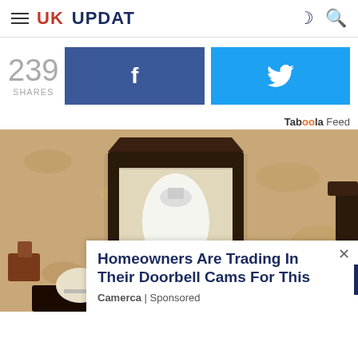UK UPDAT
239 SHARES
f (Facebook share button)
Twitter share button
Taboola Feed
[Figure (photo): Outdoor wall-mounted lantern light fixture with a white bulb, dark metal frame, on a textured stucco wall. Two lanterns visible.]
Homeowners Are Trading In Their Doorbell Cams For This
Camerca | Sponsored